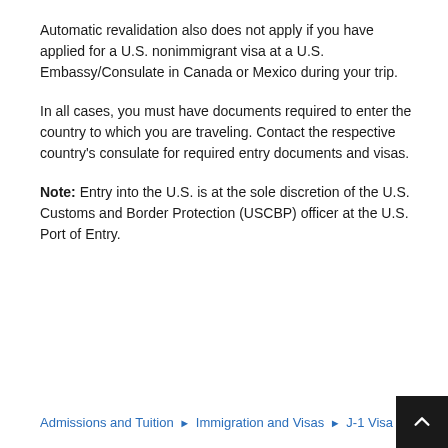Automatic revalidation also does not apply if you have applied for a U.S. nonimmigrant visa at a U.S. Embassy/Consulate in Canada or Mexico during your trip.
In all cases, you must have documents required to enter the country to which you are traveling. Contact the respective country's consulate for required entry documents and visas.
Note: Entry into the U.S. is at the sole discretion of the U.S. Customs and Border Protection (USCBP) officer at the U.S. Port of Entry.
Admissions and Tuition ► Immigration and Visas ► J-1 Visa ► Travel